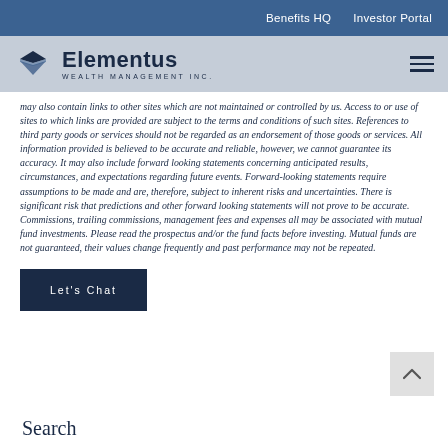Benefits HQ   Investor Portal
[Figure (logo): Elementus Wealth Management Inc. logo with diamond/chevron icon in dark navy blue]
may also contain links to other sites which are not maintained or controlled by us. Access to or use of sites to which links are provided are subject to the terms and conditions of such sites. References to third party goods or services should not be regarded as an endorsement of those goods or services. All information provided is believed to be accurate and reliable, however, we cannot guarantee its accuracy. It may also include forward looking statements concerning anticipated results, circumstances, and expectations regarding future events. Forward-looking statements require assumptions to be made and are, therefore, subject to inherent risks and uncertainties. There is significant risk that predictions and other forward looking statements will not prove to be accurate. Commissions, trailing commissions, management fees and expenses all may be associated with mutual fund investments. Please read the prospectus and/or the fund facts before investing. Mutual funds are not guaranteed, their values change frequently and past performance may not be repeated.
Let's Chat
Search